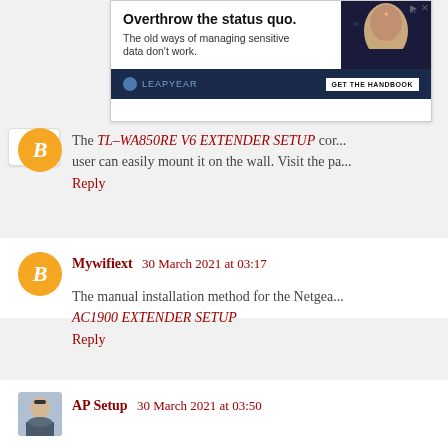[Figure (screenshot): Advertisement banner for Leapyear: 'Overthrow the status quo. The old ways of managing sensitive data don't work.' with GET THE HANDBOOK button]
The TL-WA850RE V6 EXTENDER SETUP com... user can easily mount it on the wall. Visit the pa...
Reply
Mywifiext 30 March 2021 at 03:17
The manual installation method for the Netgea... AC1900 EXTENDER SETUP
Reply
AP Setup 30 March 2021 at 03:50